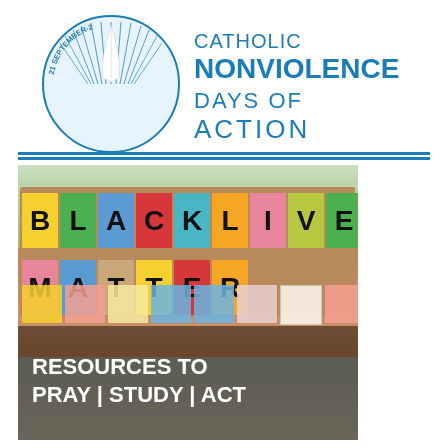[Figure (logo): Catholic Nonviolence Days of Action logo with circular emblem showing feathers/dove and text '21 September-2...' around the edge, alongside bold text reading 'CATHOLIC NONVIOLENCE DAYS OF ACTION' in dark blue]
[Figure (photo): Photo of a protest display showing colorful paper tiles spelling 'BLACK LIVES MATTER' on cardboard, with small sticky notes below, and white bold text overlay reading 'RESOURCES TO PRAY | STUDY | ACT']